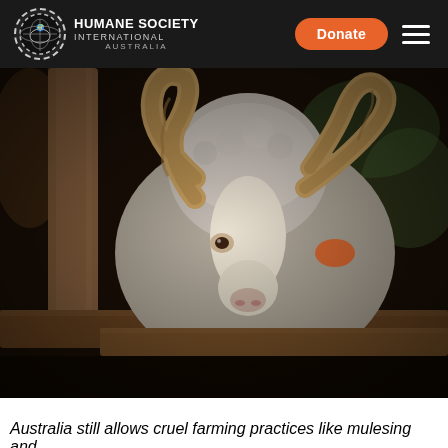HUMANE SOCIETY INTERNATIONAL AUSTRALIA
[Figure (photo): Close-up photograph of a merino ram with large curling horns and a thick woolly fleece, looking through wooden fence rails. Background is blurred greenery and a warm bokeh setting.]
Australia still allows cruel farming practices like mulesing an... (continues)